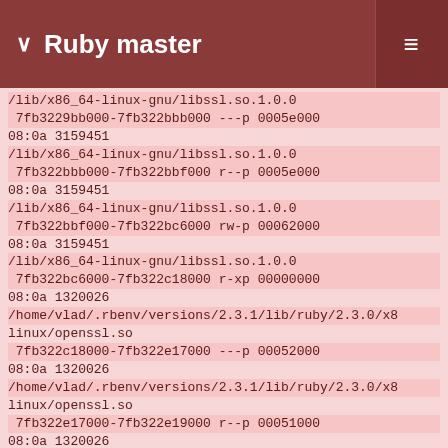Ruby master
/lib/x86_64-linux-gnu/libssl.so.1.0.0
 7fb3229bb000-7fb322bbb000 ---p 0005e000 08:0a 3159451
/lib/x86_64-linux-gnu/libssl.so.1.0.0
 7fb322bbb000-7fb322bbf000 r--p 0005e000 08:0a 3159451
/lib/x86_64-linux-gnu/libssl.so.1.0.0
 7fb322bbf000-7fb322bc6000 rw-p 00062000 08:0a 3159451
/lib/x86_64-linux-gnu/libssl.so.1.0.0
 7fb322bc6000-7fb322c18000 r-xp 00000000 08:0a 1320026
/home/vlad/.rbenv/versions/2.3.1/lib/ruby/2.3.0/x8 linux/openssl.so
 7fb322c18000-7fb322e17000 ---p 00052000 08:0a 1320026
/home/vlad/.rbenv/versions/2.3.1/lib/ruby/2.3.0/x8 linux/openssl.so
 7fb322e17000-7fb322e19000 r--p 00051000 08:0a 1320026
/home/vlad/.rbenv/versions/2.3.1/lib/ruby/2.3.0/x8 linux/openssl.so
 7fb322e19000-7fb322e1b000 rw-p 00053000 08:0a 1320026